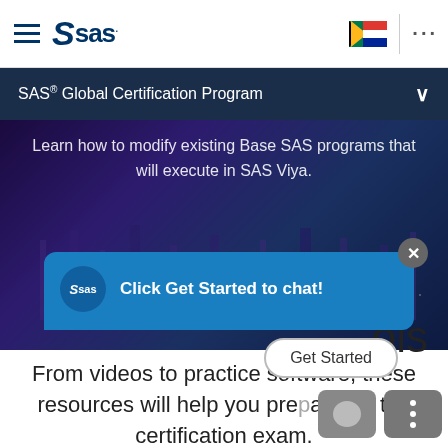[Figure (screenshot): SAS logo with hamburger menu icon on left, South Africa flag and three-dot menu on right in white navigation bar]
SAS® Global Certification Program
Learn how to modify existing Base SAS programs that will execute in SAS Viya.
Read programming course description ❯
[Figure (screenshot): SAS chat popup widget with blue background showing SAS logo and text 'Click Get Started to chat!' with a Get Started button and close X button]
ols
From videos to practice software, these resources will help you prepare for the certification exam.